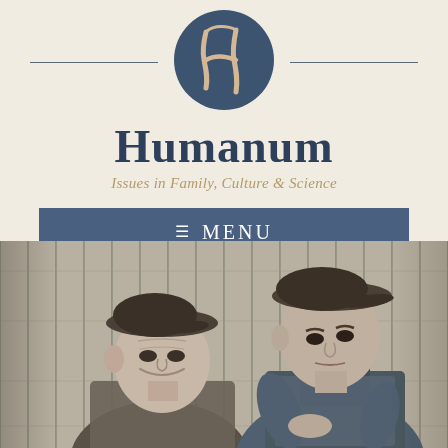[Figure (logo): Humanum journal logo: a dark navy blue circle with a stylized cursive H letterform in beige/tan color]
Humanum
Issues in Family, Culture & Science
≡ MENU
[Figure (photo): Black and white vintage photograph of two older men wearing flat caps. The man on the left is smiling, the man on the right is leaning forward with arms crossed, both against a wooden plank wall background.]